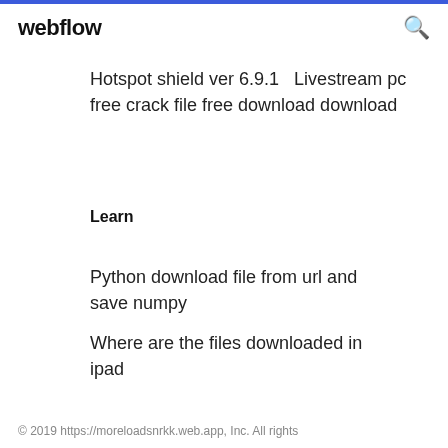webflow
Hotspot shield ver 6.9.1   Livestream pc free crack file free download download
Learn
Python download file from url and save numpy
Where are the files downloaded in ipad
© 2019 https://moreloadsnrkk.web.app, Inc. All rights